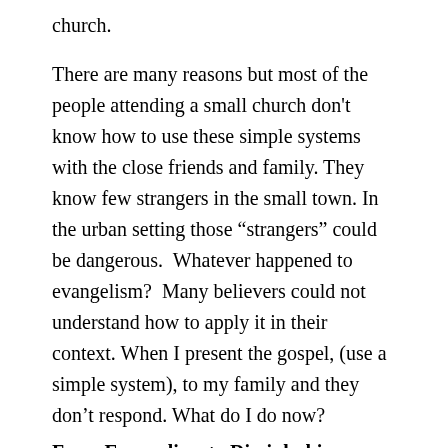church.
There are many reasons but most of the people attending a small church don't know how to use these simple systems with the close friends and family. They know few strangers in the small town. In the urban setting those “strangers” could be dangerous.  Whatever happened to evangelism?  Many believers could not understand how to apply it in their context. When I present the gospel, (use a simple system), to my family and they don’t respond. What do I do now?
From Evangelism to Discipleship
Whatever happened to evangelism? The